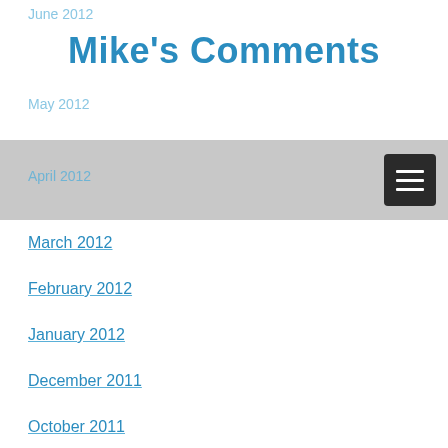June 2012
Mike's Comments
May 2012
April 2012
March 2012
February 2012
January 2012
December 2011
October 2011
September 2011
July 2011
June 2011